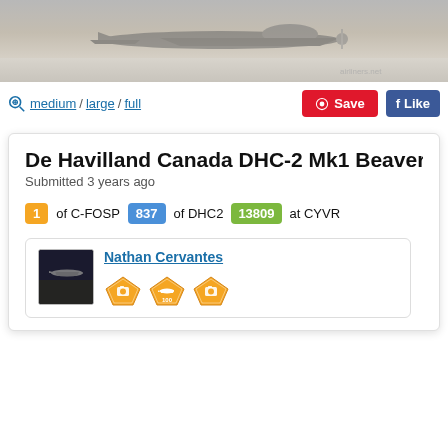[Figure (photo): Top portion of aircraft photo strip showing a De Havilland Canada Beaver aircraft on the ground, muted grey tones]
medium / large / full
Save
Like
De Havilland Canada DHC-2 Mk1 Beaver (C-F...
Submitted 3 years ago
1 of C-FOSP   837 of DHC2   13809 at CYVR
Nathan Cervantes